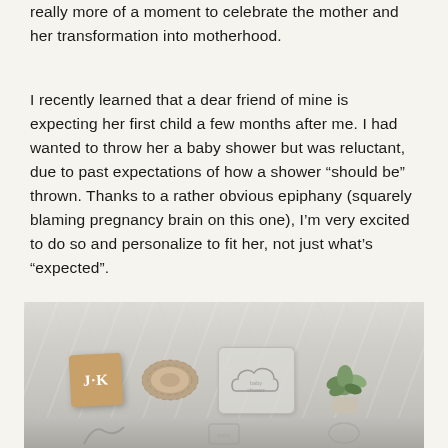really more of a moment to celebrate the mother and her transformation into motherhood.
I recently learned that a dear friend of mine is expecting her first child a few months after me. I had wanted to throw her a baby shower but was reluctant, due to past expectations of how a shower “should be” thrown. Thanks to a rather obvious epiphany (squarely blaming pregnancy brain on this one), I’m very excited to do so and personalize to fit her, not just what’s “expected”.
[Figure (photo): Flat lay photo on a marble surface showing baby shower items: a wooden stamp block with 'J·K', a spool of twine, a clear acrylic cloud-shaped stamp, and a small green plant]